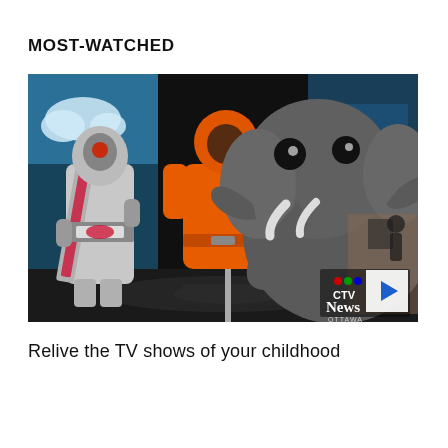MOST-WATCHED
[Figure (screenshot): Video thumbnail showing an exhibition with TV show costumes and props: a silver astronaut/robot suit with a red diagonal sash, an orange jumpsuit with an orange helmet on a mannequin stand, and a large grey stuffed elephant costume with tusks, set against a dark background with colorful backlit displays. CTV News Ottawa watermark in the bottom right corner. A white play button overlay appears in the bottom right corner.]
Relive the TV shows of your childhood